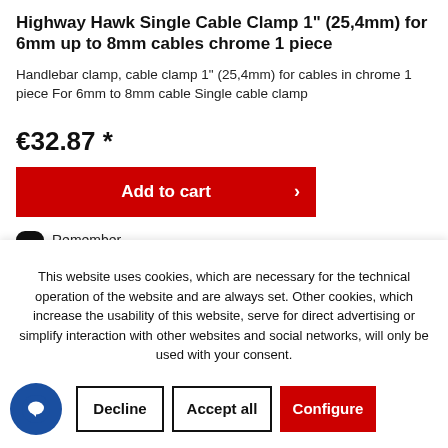Highway Hawk Single Cable Clamp 1" (25,4mm) for 6mm up to 8mm cables chrome 1 piece
Handlebar clamp, cable clamp 1" (25,4mm) for cables in chrome 1 piece For 6mm to 8mm cable Single cable clamp
€32.87 *
Add to cart
Remember
This website uses cookies, which are necessary for the technical operation of the website and are always set. Other cookies, which increase the usability of this website, serve for direct advertising or simplify interaction with other websites and social networks, will only be used with your consent.
Decline
Accept all
Configure